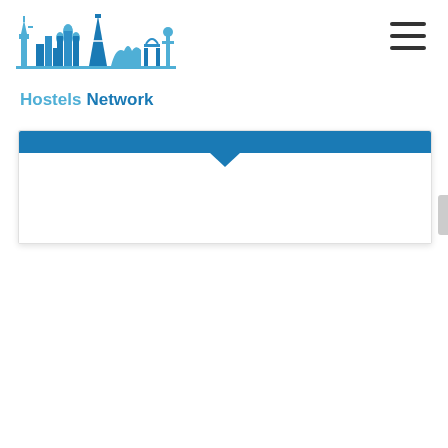Hostels Network
[Figure (logo): Hostels Network logo with blue skyline silhouette of world landmarks (Statue of Liberty, Eiffel Tower, Colosseum, Sydney Opera House, Christ the Redeemer) and text 'Hostels Network']
[Figure (other): Hamburger menu icon (three horizontal lines) in top right corner]
[Figure (other): Blue tooltip/dropdown bar with downward pointing chevron arrow, white content area below]